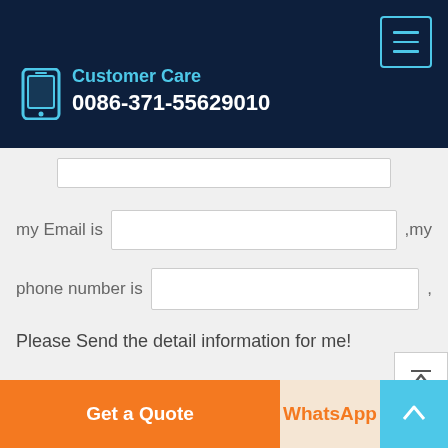Customer Care
0086-371-55629010
my Email is , my phone number is ,
Please Send the detail information for me!
SUBMIT
Get a Quote
WhatsApp